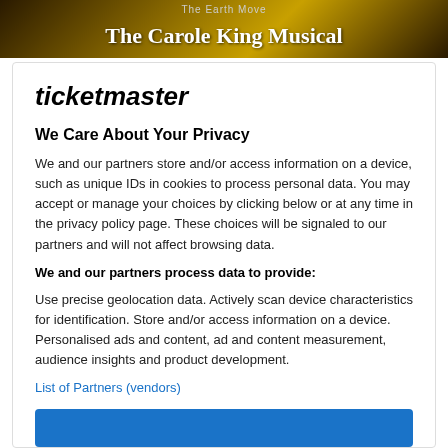[Figure (screenshot): Dark banner with golden background showing 'The Earth Move' text above and 'The Carole King Musical' in large white serif bold text]
ticketmaster
We Care About Your Privacy
We and our partners store and/or access information on a device, such as unique IDs in cookies to process personal data. You may accept or manage your choices by clicking below or at any time in the privacy policy page. These choices will be signaled to our partners and will not affect browsing data.
We and our partners process data to provide:
Use precise geolocation data. Actively scan device characteristics for identification. Store and/or access information on a device. Personalised ads and content, ad and content measurement, audience insights and product development.
List of Partners (vendors)
[Figure (screenshot): Blue button partially visible at bottom of modal]